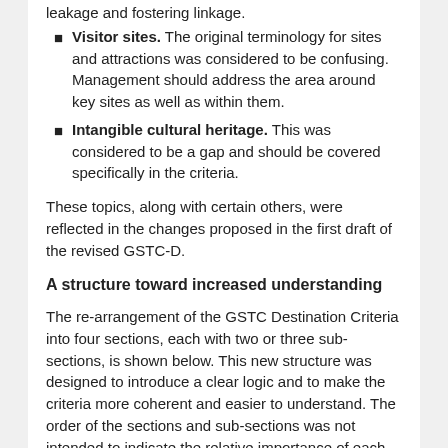leakage and fostering linkage.
Visitor sites. The original terminology for sites and attractions was considered to be confusing. Management should address the area around key sites as well as within them.
Intangible cultural heritage. This was considered to be a gap and should be covered specifically in the criteria.
These topics, along with certain others, were reflected in the changes proposed in the first draft of the revised GSTC-D.
A structure toward increased understanding
The re-arrangement of the GSTC Destination Criteria into four sections, each with two or three sub-sections, is shown below. This new structure was designed to introduce a clear logic and to make the criteria more coherent and easier to understand. The order of the sections and sub-sections was not intended to indicate the relative importance of each topic.